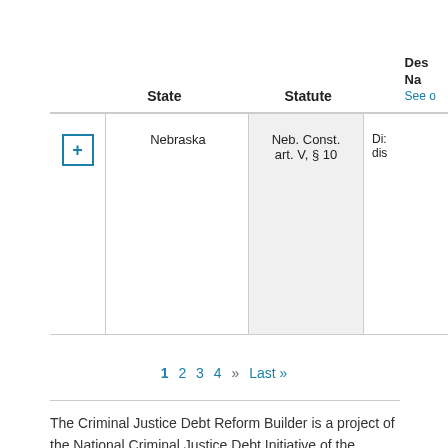|  | State | Statute | Des... Na... See... |
| --- | --- | --- | --- |
| + | Nebraska | Neb. Const. art. V, § 10 | Di... dis... |
1 2 3 4 » Last »
The Criminal Justice Debt Reform Builder is a project of the National Criminal Justice Debt Initiative of the Criminal